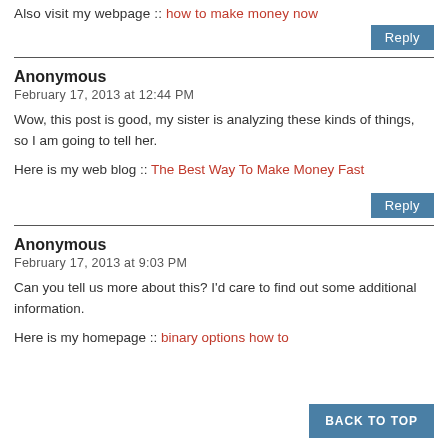Also visit my webpage :: how to make money now
Reply
Anonymous
February 17, 2013 at 12:44 PM
Wow, this post is good, my sister is analyzing these kinds of things,
so I am going to tell her.
Here is my web blog :: The Best Way To Make Money Fast
Reply
Anonymous
February 17, 2013 at 9:03 PM
Can you tell us more about this? I'd care to find out some additional information.
BACK TO TOP
Here is my homepage :: binary options how to